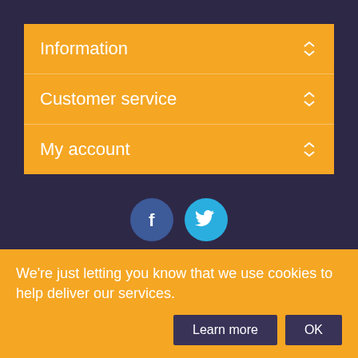Information
Customer service
My account
[Figure (illustration): Facebook and Twitter social media icons as circular buttons (blue and light blue)]
See our 213 reviews on Trustpilot
We're just letting you know that we use cookies to help deliver our services.
Learn more
OK